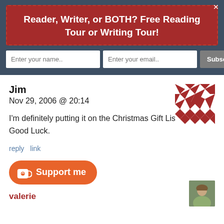Reader, Writer, or BOTH? Free Reading Tour or Writing Tour!
Enter your name.. | Enter your email.. | Subscribe Now
Jim
Nov 29, 2006 @ 20:14
I'm definitely putting it on the Christmas Gift List. Good Luck.
reply  link
[Figure (other): Support me button with Ko-fi cup icon]
valerie